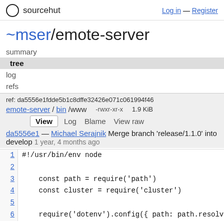sourcehut   Log in — Register
~mser/emote-server
summary
tree
log
refs
ref: da5556e1fdde5b1c8dffe32426e071c061994f46
emote-server/bin/www   -rwxr-xr-x   1.9 KiB
View  Log  Blame  View raw
da5556e1 — Michael Serajnik Merge branch 'release/1.1.0' into develop 1 year, 4 months ago
1  #!/usr/bin/env node
2
3  const path = require('path')
4  const cluster = require('cluster')
5
6  require('dotenv').config({ path: path.resolv